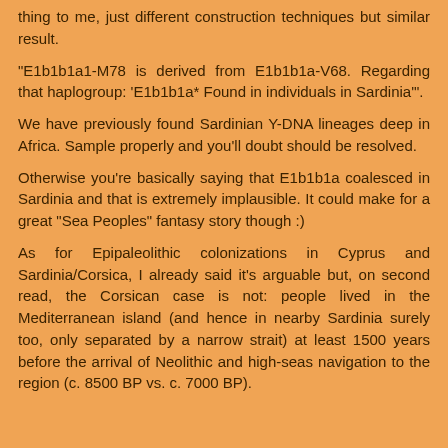thing to me, just different construction techniques but similar result.
"E1b1b1a1-M78 is derived from E1b1b1a-V68. Regarding that haplogroup: 'E1b1b1a* Found in individuals in Sardinia'".
We have previously found Sardinian Y-DNA lineages deep in Africa. Sample properly and you'll doubt should be resolved.
Otherwise you're basically saying that E1b1b1a coalesced in Sardinia and that is extremely implausible. It could make for a great "Sea Peoples" fantasy story though :)
As for Epipaleolithic colonizations in Cyprus and Sardinia/Corsica, I already said it's arguable but, on second read, the Corsican case is not: people lived in the Mediterranean island (and hence in nearby Sardinia surely too, only separated by a narrow strait) at least 1500 years before the arrival of Neolithic and high-seas navigation to the region (c. 8500 BP vs. c. 7000 BP).